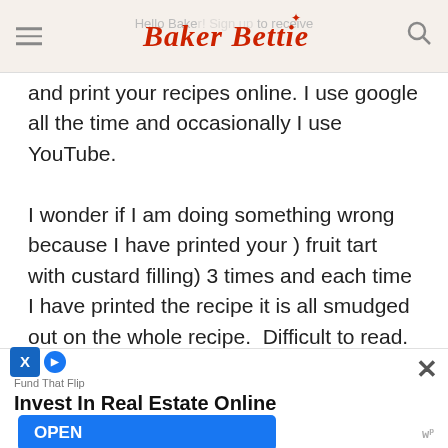Baker Bettie — Hello Baker! Sign up to receive and print your recipes online. I use google all the time and occasionally I use YouTube.
and print your recipes online. I use google all the time and occasionally I use YouTube.

I wonder if I am doing something wrong because I have printed your ) fruit tart with custard filling) 3 times and each time I have printed the recipe it is all smudged out on the whole recipe. Difficult to read. Do you have any suggestions what I need to do. Respectfully Anita
Fund That Flip
Invest In Real Estate Online
OPEN